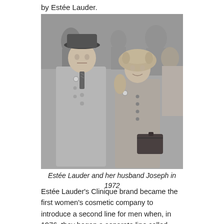by Estée Lauder.
[Figure (photo): Black and white photograph of Estée Lauder and her husband Joseph in 1972, standing outdoors among a crowd. Joseph wears a dark hat and double-breasted coat with a patterned tie. Estée wears a fur-trimmed coat and carries a handbag.]
Estée Lauder and her husband Joseph in 1972
Estée Lauder's Clinique brand became the first women's cosmetic company to introduce a second line for men when, in 1976, they began a separate line called 'Skin Supplies for Men', which continues to be sold at Clinique counters worldwide. In 1981, the company's products became available in the Soviet